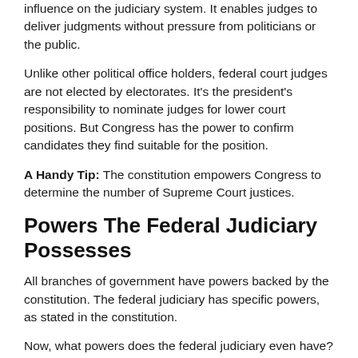influence on the judiciary system. It enables judges to deliver judgments without pressure from politicians or the public.
Unlike other political office holders, federal court judges are not elected by electorates. It's the president's responsibility to nominate judges for lower court positions. But Congress has the power to confirm candidates they find suitable for the position.
A Handy Tip: The constitution empowers Congress to determine the number of Supreme Court justices.
Powers The Federal Judiciary Possesses
All branches of government have powers backed by the constitution. The federal judiciary has specific powers, as stated in the constitution.
Now, what powers does the federal judiciary even have?